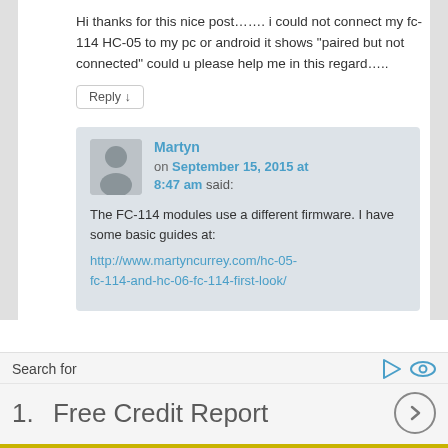Hi thanks for this nice post........ i could not connect my fc-114 HC-05 to my pc or android it shows “paired but not connected” could u please help me in this regard…..
Reply ↓
Martyn
on September 15, 2015 at 8:47 am said:
The FC-114 modules use a different firmware. I have some basic guides at:
http://www.martyncurrey.com/hc-05-fc-114-and-hc-06-fc-114-first-look/
Search for
1.  Free Credit Report